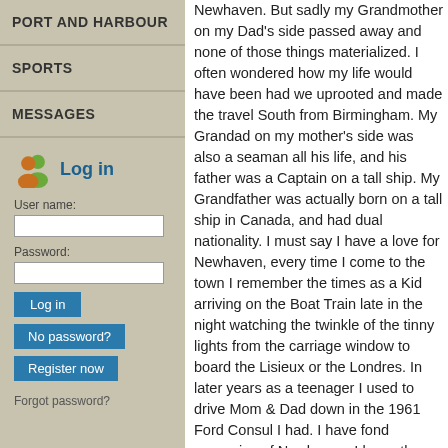PORT AND HARBOUR
SPORTS
MESSAGES
Log in
User name:
Password:
No password?
Register now
Forgot password?
Newhaven. But sadly my Grandmother on my Dad's side passed away and none of those things materialized. I often wondered how my life would have been had we uprooted and made the travel South from Birmingham. My Grandad on my mother's side was also a seaman all his life, and his father was a Captain on a tall ship. My Grandfather was actually born on a tall ship in Canada, and had dual nationality. I must say I have a love for Newhaven, every time I come to the town I remember the times as a Kid arriving on the Boat Train late in the night watching the twinkle of the tinny lights from the carriage window to board the Lisieux or the Londres. In later years as a teenager I used to drive Mom & Dad down in the 1961 Ford Consul I had. I have fond memories of Newhaven, I know the Ring road they built was justified but it took something away from the town. But on the good side the little shops in the town centre kept their individuality. In more recent years I visit more to take hundreds of pictures of the town I love so well. I still would like to live in Newhaven.